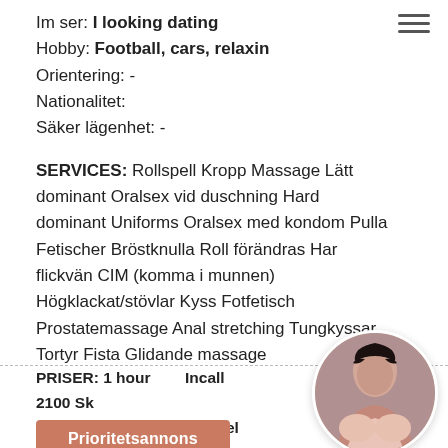Im ser: I looking dating
Hobby: Football, cars, relaxin
Orientering: -
Nationalitet:
Säker lägenhet: -
SERVICES: Rollspell Kropp Massage Lätt dominant Oralsex vid duschning Hard dominant Uniforms Oralsex med kondom Pulla Fetischer Bröstknulla Roll förändras Har flickvän CIM (komma i munnen) Högklackat/stövlar Kyss Fotfetisch Prostatemassage Anal stretching Tungkyssar Tortyr Fista Glidande massage
[Figure (photo): Circular avatar photo of a dark-haired woman]
PRISER: 1 hour   Incall 2100 Sk   Outcall 2400+ Outcall travel fee(taxi) .
Prioritetsannons